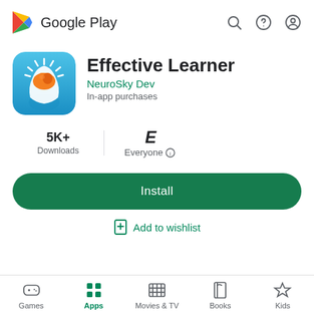[Figure (screenshot): Google Play Store app listing for 'Effective Learner' by NeuroSky Dev, showing app icon, install button, downloads count, content rating, and bottom navigation bar]
Effective Learner
NeuroSky Dev
In-app purchases
5K+ Downloads
Everyone
Install
Add to wishlist